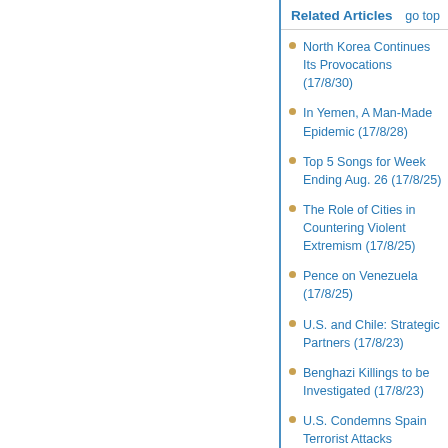Related Articles   go top
North Korea Continues Its Provocations (17/8/30)
In Yemen, A Man-Made Epidemic (17/8/28)
Top 5 Songs for Week Ending Aug. 26 (17/8/25)
The Role of Cities in Countering Violent Extremism (17/8/25)
Pence on Venezuela (17/8/25)
U.S. and Chile: Strategic Partners (17/8/23)
Benghazi Killings to be Investigated (17/8/23)
U.S. Condemns Spain Terrorist Attacks